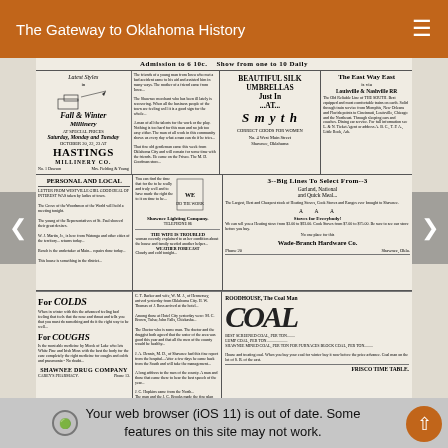The Gateway to Oklahoma History
[Figure (photo): Scanned newspaper page showing multiple advertisements and news columns from an Oklahoma historical newspaper. Includes ads for Hastings Millinery Co., Beautiful Silk Umbrellas at Smyth, The East Way East Louisville & Nashville RR, Personal and Local news column, Shawnee Lighting Company, Wade-Branch Hardware Co. stoves, For Colds/For Coughs Shawnee Drug Company, ROODHOUSE The Coal Man with large COAL text, and FRISCO TIME TABLE.]
Your web browser (iOS 11) is out of date. Some features on this site may not work.